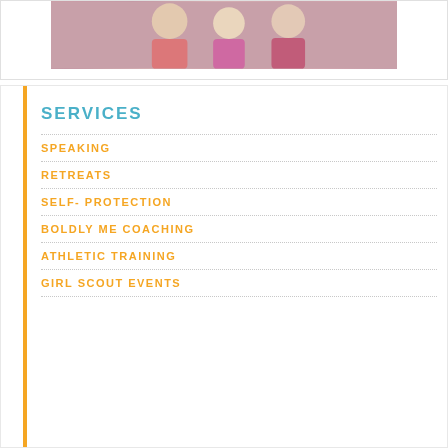[Figure (photo): Group of people (appears to be women/girls) in athletic or casual wear, cropped photo at top of page]
SERVICES
SPEAKING
RETREATS
SELF- PROTECTION
BOLDLY ME COACHING
ATHLETIC TRAINING
GIRL SCOUT EVENTS